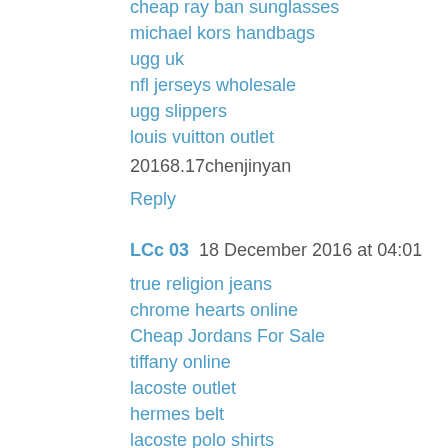cheap ray ban sunglasses
michael kors handbags
ugg uk
nfl jerseys wholesale
ugg slippers
louis vuitton outlet
20168.17chenjinyan
Reply
LCc 03  18 December 2016 at 04:01
true religion jeans
chrome hearts online
Cheap Jordans For Sale
tiffany online
lacoste outlet
hermes belt
lacoste polo shirts
ultra boost
oakley store online
oakley vault